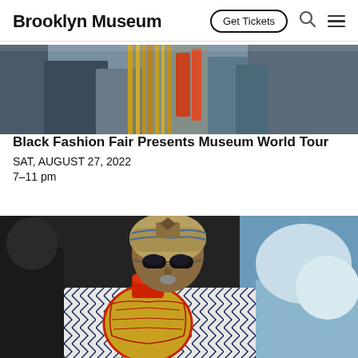Brooklyn Museum | Get Tickets
[Figure (photo): Top portion of an event photo showing people at the Black Fashion Fair, with colorful beaded/fringed decorations visible]
Black Fashion Fair Presents Museum World Tour
SAT, AUGUST 27, 2022
7–11 pm
[Figure (photo): A man wearing sunglasses and a patterned head wrap holds a decorative red and gold beaded gourd instrument up to his mouth, wearing a white and black patterned garment]